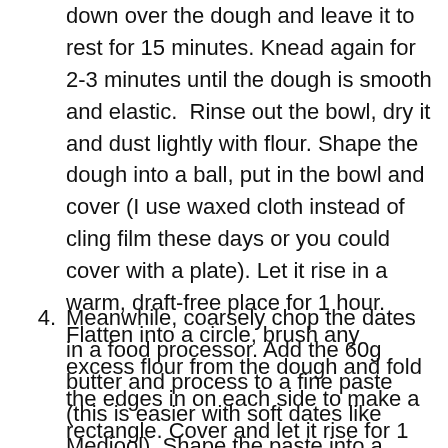down over the dough and leave it to rest for 15 minutes. Knead again for 2-3 minutes until the dough is smooth and elastic. Rinse out the bowl, dry it and dust lightly with flour. Shape the dough into a ball, put in the bowl and cover (I use waxed cloth instead of cling film these days or you could cover with a plate). Let it rise in a warm, draft-free place for 1 hour. Flatten into a circle, brush any excess flour from the dough and fold the edges in on each side to make a rectangle. Cover and let it rise for 1 hour more. The dough should have doubled in volume.
Meanwhile, coarsely chop the dates in a food processor. Add the 60g butter and process to a fine paste (this is easier with soft dates like Medjool). Shape the paste into a thick cylinder, wrap, and put into the fridge.